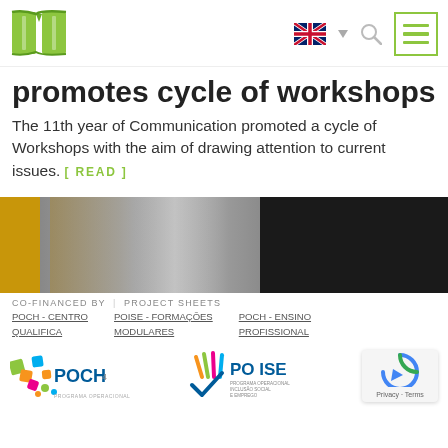[Figure (screenshot): Website header navigation bar with green book logo on left, UK flag language selector and search icon in center, green bordered hamburger menu icon on right]
promotes cycle of workshops
The 11th year of Communication promoted a cycle of Workshops with the aim of drawing attention to current issues. [ READ ]
[Figure (photo): Partial photo of a classroom or event setting with yellow frame on left, dark background on right, and a person or poster visible in center]
CO-FINANCED BY  |  PROJECT SHEETS
POCH - CENTRO QUALIFICA
POISE - FORMAÇÕES MODULARES
POCH - ENSINO PROFISSIONAL
[Figure (logo): POCH colorful logo with geometric shapes]
[Figure (logo): PO ISE logo with colorful hand/finger icon and text 'PROGRAMA OPERACIONAL INCLUSÃO SOCIAL E EMPREGO']
[Figure (logo): reCAPTCHA badge with Privacy and Terms text]